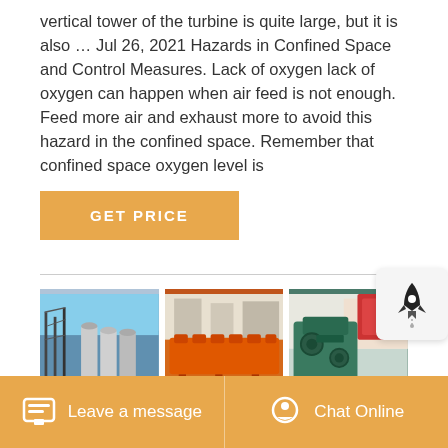vertical tower of the turbine is quite large, but it is also … Jul 26, 2021 Hazards in Confined Space and Control Measures. Lack of oxygen lack of oxygen can happen when air feed is not enough. Feed more air and exhaust more to avoid this hazard in the confined space. Remember that confined space oxygen level is
GET PRICE
[Figure (photo): Three industrial machinery/facility photos side by side: (1) industrial building with metal framework and silos, (2) orange mineral processing flotation machine, (3) green industrial crusher machine in factory]
4 reasons why a mill lining contract is a good
Leave a message   Chat Online